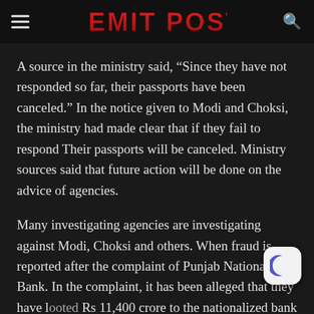EMIT POST
A source in the ministry said, “Since they have not responded so far, their passports have been canceled.” In the notice given to Modi and Choksi, the ministry had made clear that if they fail to respond Their passports will be canceled. Ministry sources said that future action will be done on the advice of agencies.
Many investigating agencies are investigating against Modi, Choksi and others. When fraud is reported after the complaint of Punjab National Bank. In the complaint, it has been alleged that they have looted Rs 11,400 crore to the nationalized bank in collusion with some employees of the bank. The Central...